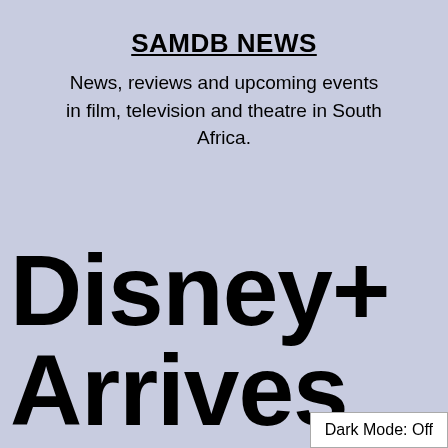SAMDB NEWS
News, reviews and upcoming events in film, television and theatre in South Africa.
Disney+ Arrives Today In South Africa